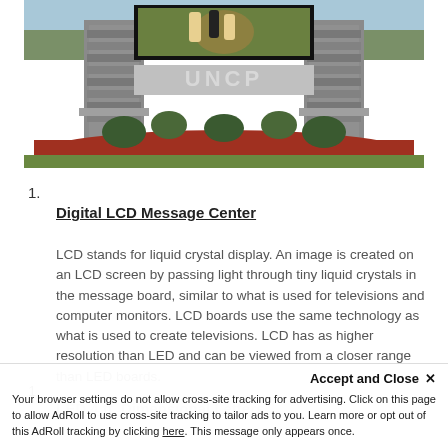[Figure (photo): Outdoor photograph of a UNCP (University of North Carolina at Pembroke) stone entrance monument sign with a digital LCD screen displaying a football game image at the top. The sign has 'UNCP' lettered on a gray panel, flanked by stone columns, with red mulch flower bed landscaping in the foreground.]
1.
Digital LCD Message Center
LCD stands for liquid crystal display. An image is created on an LCD screen by passing light through tiny liquid crystals in the message board, similar to what is used for televisions and computer monitors. LCD boards use the same technology as what is used to create televisions. LCD has as higher resolution than LED and can be viewed from a closer range than LED boards.
1.
LED 4 ft. Dimensional Letters
Accept and Close ✕
Your browser settings do not allow cross-site tracking for advertising. Click on this page to allow AdRoll to use cross-site tracking to tailor ads to you. Learn more or opt out of this AdRoll tracking by clicking here. This message only appears once.